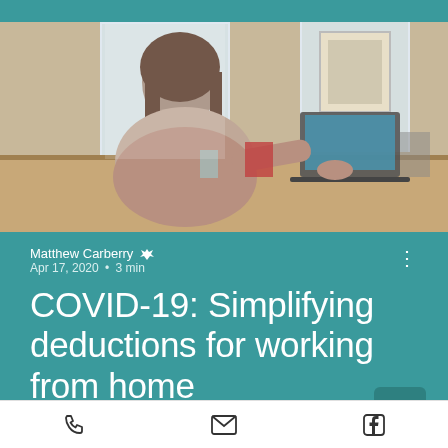[Figure (photo): Person with long hair sitting at a wooden desk working on a laptop, viewed from the side, with bright windows in the background and a framed picture on the wall.]
Matthew Carberry 👑
Apr 17, 2020 • 3 min
COVID-19: Simplifying deductions for working from home
The ATO has announced special
📞  ✉  f